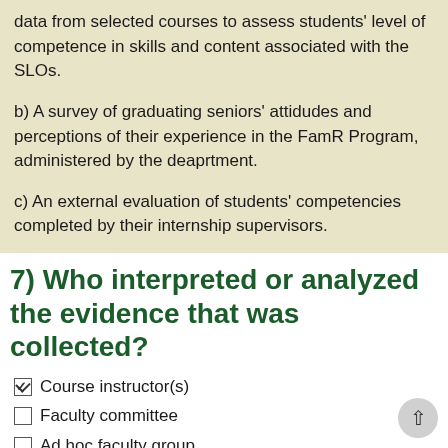data from selected courses to assess students' level of competence in skills and content associated with the SLOs.
b) A survey of graduating seniors' attidudes and perceptions of their experience in the FamR Program, administered by the deaprtment.
c) An external evaluation of students' competencies completed by their internship supervisors.
7) Who interpreted or analyzed the evidence that was collected?
Course instructor(s)
Faculty committee
Ad hoc faculty group
Department chairperson